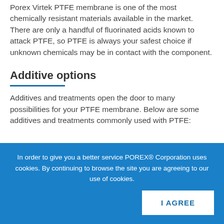Porex Virtek PTFE membrane is one of the most chemically resistant materials available in the market. There are only a handful of fluorinated acids known to attack PTFE, so PTFE is always your safest choice if unknown chemicals may be in contact with the component.
Additive options
Additives and treatments open the door to many possibilities for your PTFE membrane. Below are some additives and treatments commonly used with PTFE:
In order to give you a better service POREX® Corporation uses cookies. By continuing to browse the site you are agreeing to our use of cookies.